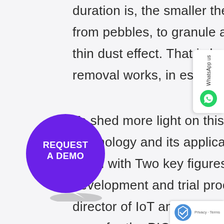dust particles. The shorter the pulse duration is, the smaller the particles are, from pebbles, to granule and down to a thin dust effect. That is how laser tattoo removal works, in essence.
To shed more light on this laser technology and its applications we sat down with Two key figures in the development and trial process. Mr. Miki director of IoT and the project for the PICO CLEAR and M Ohad Toledano from Alma's clinical dep
[Figure (other): WhatsApp us side button with phone icon]
[Figure (other): Purple circular REQUEST A DEMO button with page curl effect]
[Figure (other): reCAPTCHA badge with Privacy and Terms links]